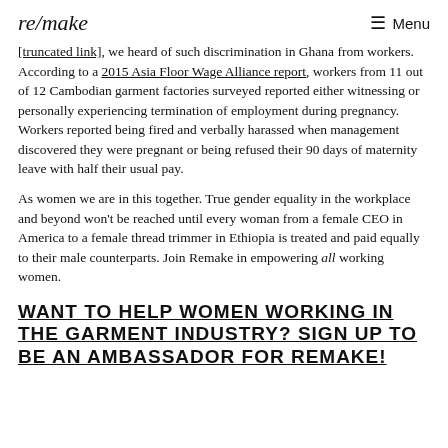re/make  Menu
[truncated link] , we heard of such discrimination in Ghana from workers. According to a 2015 Asia Floor Wage Alliance report, workers from 11 out of 12 Cambodian garment factories surveyed reported either witnessing or personally experiencing termination of employment during pregnancy. Workers reported being fired and verbally harassed when management discovered they were pregnant or being refused their 90 days of maternity leave with half their usual pay.
As women we are in this together. True gender equality in the workplace and beyond won't be reached until every woman from a female CEO in America to a female thread trimmer in Ethiopia is treated and paid equally to their male counterparts. Join Remake in empowering all working women.
WANT TO HELP WOMEN WORKING IN THE GARMENT INDUSTRY? SIGN UP TO BE AN AMBASSADOR FOR REMAKE!